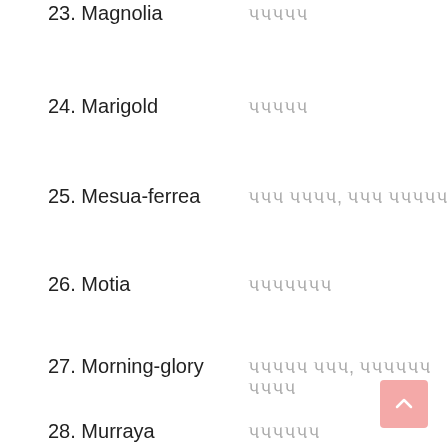23. Magnolia — પપપપપ
24. Marigold — પપપપપ
25. Mesua-ferrea — પપપ પપપપ, પપપ પપપપપપ
26. Motia — પપપપપપપ
27. Morning-glory — પપપપપ પપપ, પપપપપપ પપપપ
28. Murraya — પપપપપપ